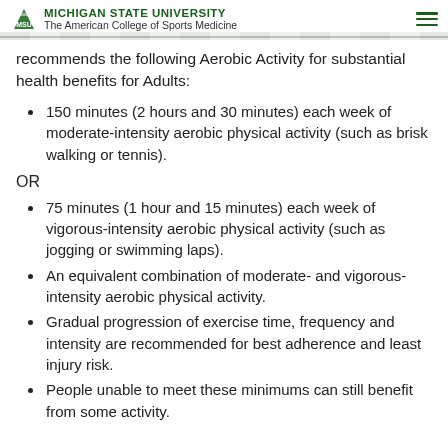MICHIGAN STATE UNIVERSITY | The American College of Sports Medicine
recommends the following Aerobic Activity for substantial health benefits for Adults:
150 minutes (2 hours and 30 minutes) each week of moderate-intensity aerobic physical activity (such as brisk walking or tennis).
OR
75 minutes (1 hour and 15 minutes) each week of vigorous-intensity aerobic physical activity (such as jogging or swimming laps).
An equivalent combination of moderate- and vigorous-intensity aerobic physical activity.
Gradual progression of exercise time, frequency and intensity are recommended for best adherence and least injury risk.
People unable to meet these minimums can still benefit from some activity.